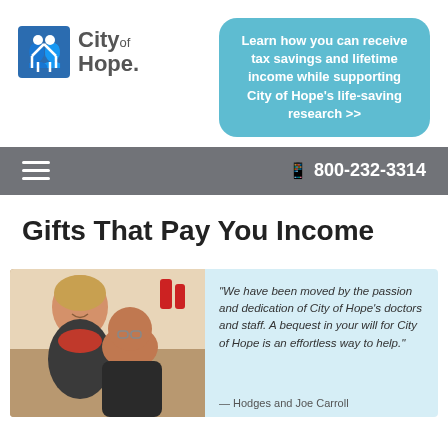[Figure (logo): City of Hope logo with blue icon of figures and text 'City of Hope']
Learn how you can receive tax savings and lifetime income while supporting City of Hope's life-saving research >>
≡  📱 800-232-3314
Gifts That Pay You Income
[Figure (photo): Photo of a smiling couple, woman with blonde hair and red scarf, man with glasses]
"We have been moved by the passion and dedication of City of Hope's doctors and staff. A bequest in your will for City of Hope is an effortless way to help."
— Hodges and Joe Carroll